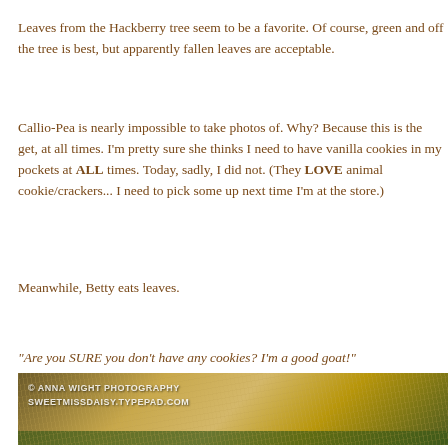Leaves from the Hackberry tree seem to be a favorite. Of course, green and off the tree is best, but apparently fallen leaves are acceptable.
Callio-Pea is nearly impossible to take photos of. Why? Because this is the get, at all times. I'm pretty sure she thinks I need to have vanilla cookies in my pockets at ALL times. Today, sadly, I did not. (They LOVE animal cookie/crackers... I need to pick some up next time I'm at the store.)
Meanwhile, Betty eats leaves.
"Are you SURE you don't have any cookies? I'm a good goat!"
[Figure (photo): Close-up photo of a goat's back/fur with grass visible at the bottom. Watermark reads: © Anna Wight Photography SweetMissDaisy.Typepad.com]